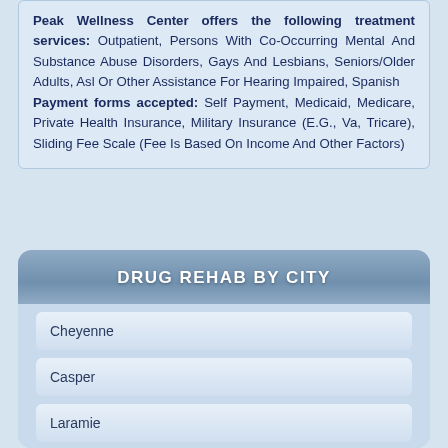Peak Wellness Center offers the following treatment services: Outpatient, Persons With Co-Occurring Mental And Substance Abuse Disorders, Gays And Lesbians, Seniors/Older Adults, Asl Or Other Assistance For Hearing Impaired, Spanish
Payment forms accepted: Self Payment, Medicaid, Medicare, Private Health Insurance, Military Insurance (E.G., Va, Tricare), Sliding Fee Scale (Fee Is Based On Income And Other Factors)
DRUG REHAB BY CITY
Cheyenne
Casper
Laramie
Gillette